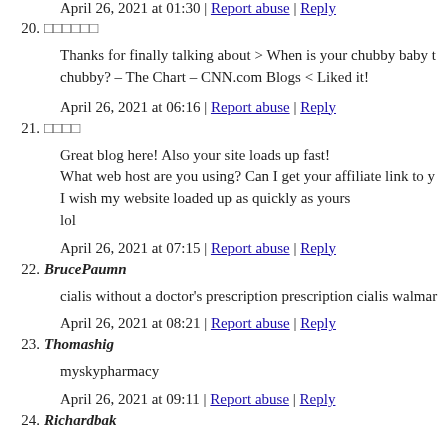April 26, 2021 at 01:30 | Report abuse | Reply
20. □□□□□□
Thanks for finally talking about > When is your chubby baby too chubby? – The Chart – CNN.com Blogs < Liked it!
April 26, 2021 at 06:16 | Report abuse | Reply
21. □□□□
Great blog here! Also your site loads up fast!
What web host are you using? Can I get your affiliate link to y
I wish my website loaded up as quickly as yours
lol
April 26, 2021 at 07:15 | Report abuse | Reply
22. BrucePaumn
cialis without a doctor's prescription prescription cialis walmar
April 26, 2021 at 08:21 | Report abuse | Reply
23. Thomashig
myskypharmacy
April 26, 2021 at 09:11 | Report abuse | Reply
24. Richardbak